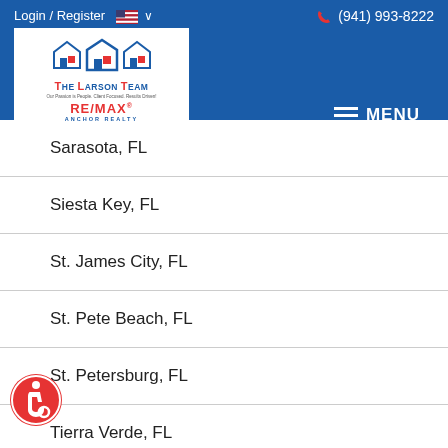Login / Register  🇺🇸 ∨   (941) 993-8222
[Figure (logo): The Larson Team RE/MAX Anchor Realty logo with house icons]
≡ MENU
Sarasota, FL
Siesta Key, FL
St. James City, FL
St. Pete Beach, FL
St. Petersburg, FL
Tierra Verde, FL
Venice, FL